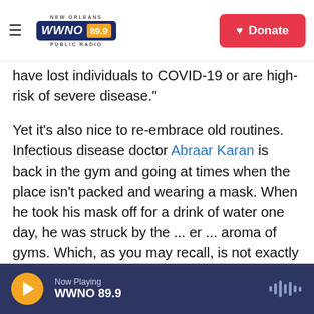NEW ORLEANS WWNO 89.9 PUBLIC RADIO | Donate
have lost individuals to COVID-19 or are high-risk of severe disease."
Yet it's also nice to re-embrace old routines. Infectious disease doctor Abraar Karan is back in the gym and going at times when the place isn't packed and wearing a mask. When he took his mask off for a drink of water one day, he was struck by the ... er ... aroma of gyms. Which, as you may recall, is not exactly lilacs and roses. "When I was in the gym and took my mask off to drink water, I forgot how bad it stinks," he says. So that's an added benefit to wearing a mask in a place where
Now Playing WWNO 89.9